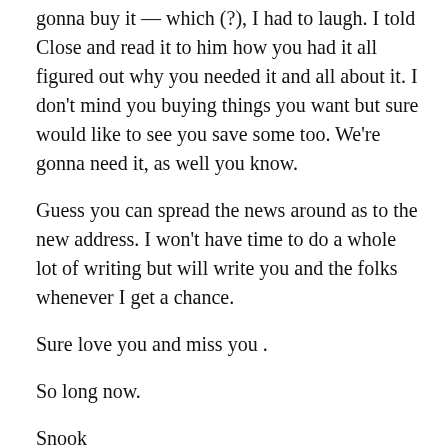gonna buy it — which (?), I had to laugh. I told Close and read it to him how you had it all figured out why you needed it and all about it. I don't mind you buying things you want but sure would like to see you save some too. We're gonna need it, as well you know.
Guess you can spread the news around as to the new address. I won't have time to do a whole lot of writing but will write you and the folks whenever I get a chance.
Sure love you and miss you .
So long now.
Snook